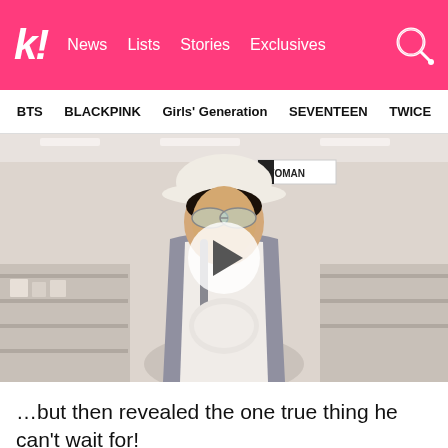k! News Lists Stories Exclusives
BTS  BLACKPINK  Girls' Generation  SEVENTEEN  TWICE
[Figure (photo): A young man wearing a white bucket hat and semi-transparent sunglasses in a retail store, holding merchandise. A video play button overlay is centered on the image.]
…but then revealed the one true thing he can't wait for!